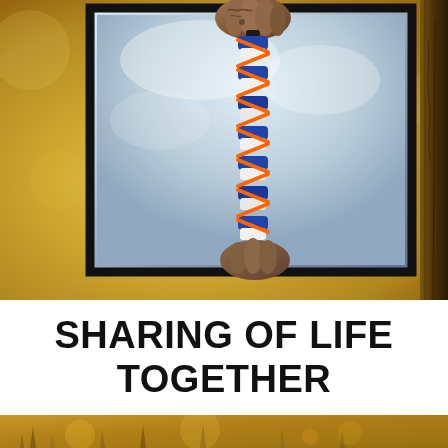[Figure (photo): A person holding a blue, white, and orange braided rope or lanyard against a warm golden bokeh background. The hand has visible tattoos and a dark ring. The central image is framed with a thick black border. A dark tree trunk is partially visible on the right edge.]
SHARING OF LIFE TOGETHER
[Figure (photo): Bottom strip of a warm golden field/meadow photo with dried grass and bokeh, warm amber tones.]